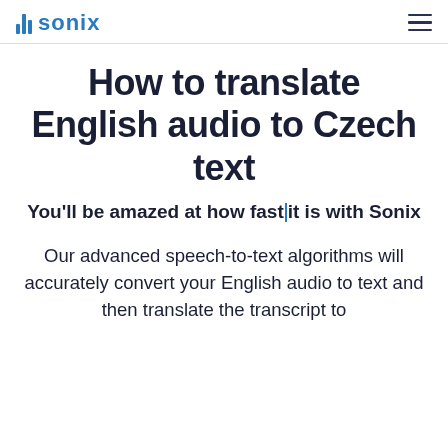Sonix
How to translate English audio to Czech text
You'll be amazed at how fast it is with Sonix
Our advanced speech-to-text algorithms will accurately convert your English audio to text and then translate the transcript to